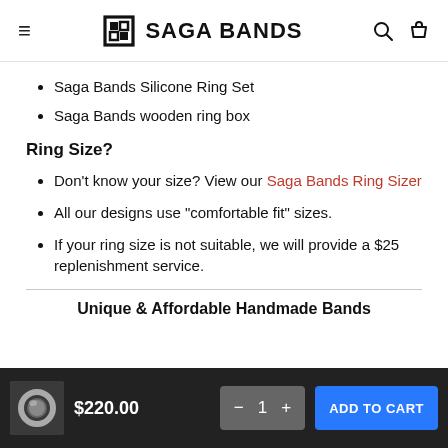≡  SAGA BANDS  🔍 🛍
Saga Bands Silicone Ring Set
Saga Bands wooden ring box
Ring Size?
Don't know your size? View our Saga Bands Ring Sizer
All our designs use "comfortable fit" sizes.
If your ring size is not suitable, we will provide a $25 replenishment service.
Unique & Affordable Handmade Bands
$220.00  −  1  +  ADD TO CART